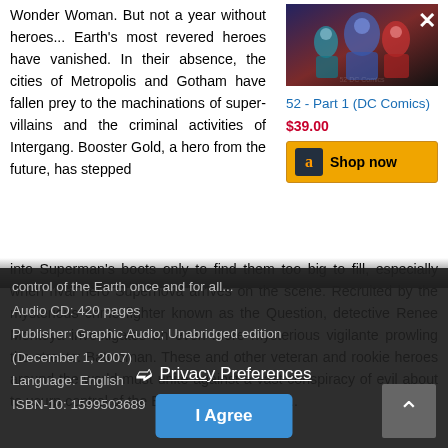Wonder Woman. But not a year without heroes... Earth's most revered heroes have vanished. In their absence, the cities of Metropolis and Gotham have fallen prey to the machinations of super-villains and the criminal activities of Intergang. Booster Gold, a hero from the future, has stepped into Superman's boots only to find them too big to fill, especially when rival hero Supernova arrives on the scene. Recruited by the mysterious crime fighter known as the Question, detective Renee Montoya investigates an even more mysterious vigilante prowling the streets: Batwoman. These and other veteran and rookie heroes around the world must unite against a vast conspiracy of evil about to usurp control of the Earth once and for all...
[Figure (illustration): Comic book cover for 52 - Part 1 (DC Comics) showing colorful superhero figures]
52 - Part 1 (DC Comics)
$39.00
Shop now
control of the Earth once and for all...
Audio CD: 420 pages
Publisher: Graphic Audio; Unabridged edition (December 1, 2007)
Language: English
ISBN-10: 1599503689
Privacy Preferences
I Agree